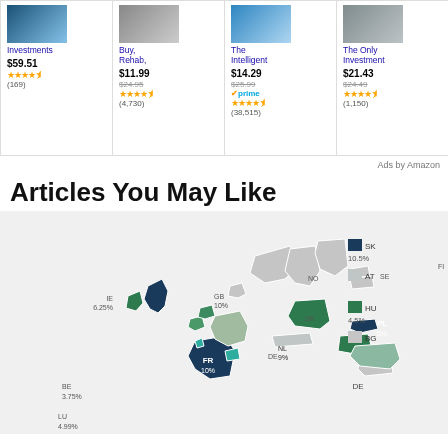[Figure (screenshot): Amazon ads row showing 4 book products: Investments ($59.51, 4.5 stars, 169 reviews), Buy Rehab ($11.99 was $24.95, 4.5 stars, 4730 reviews), The Intelligent ($14.29 was $25.99, Prime, 4.5 stars, 38515 reviews), The Only Investment ($21.43 was $24.49, 4.5 stars, 1150 reviews)]
Ads by Amazon
Articles You May Like
[Figure (map): Map of Europe showing country-level data with labels: GB 10%, IE 6.25%, BE 3.75%, LU 4.99%, FR 10%, NL 9%, DE, PL 5%, RO, NO, SE, DK, FI, EE, LV, SK 10.5%, AT, HU 4.5%, BG. Countries colored in dark navy, medium green, and light teal based on values.]